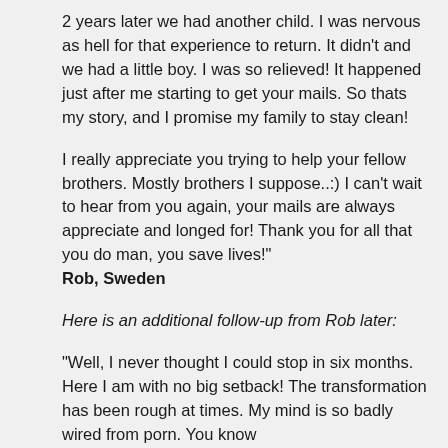2 years later we had another child. I was nervous as hell for that experience to return. It didn’t and we had a little boy. I was so relieved! It happened just after me starting to get your mails. So thats my story, and I promise my family to stay clean!
I really appreciate you trying to help your fellow brothers. Mostly brothers I suppose..:) I can’t wait to hear from you again, your mails are always appreciate and longed for! Thank you for all that you do man, you save lives!"
Rob, Sweden
Here is an additional follow-up from Rob later:
“Well, I never thought I could stop in six months. Here I am with no big setback! The transformation has been rough at times. My mind is so badly wired from porn. You know